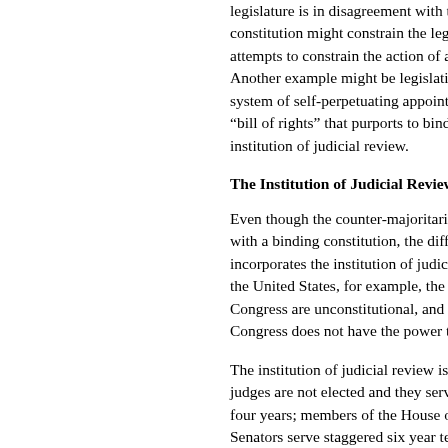legislature is in disagreement with their a... constitution might constrain the legislatu... attempts to constrain the action of a futu... Another example might be legislation tha... system of self-perpetuating appointment... "bill of rights" that purports to bind future... institution of judicial review.
The Institution of Judicial Review
Even though the counter-majoritarian dif... with a binding constitution, the difficulty i... incorporates the institution of judicial rev... the United States, for example, the cour... Congress are unconstitutional, and if the... Congress does not have the power to ov...
The institution of judicial review is counte... judges are not elected and they serve life... four years; members of the House of Re... Senators serve staggered six year terms... nominated by the President and confirme... create some degree of democratic contr... surface, it certainly looks like judicial rev... Unelected judges strike down legislation...